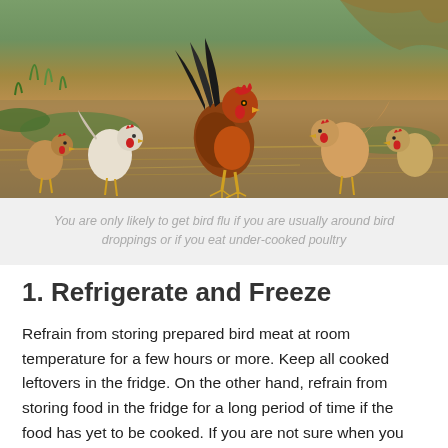[Figure (photo): A group of chickens and a rooster foraging outdoors on dirt and dry grass]
You are only likely to get bird flu if you are usually around bird droppings or if you eat under-cooked poultry
1. Refrigerate and Freeze
Refrain from storing prepared bird meat at room temperature for a few hours or more. Keep all cooked leftovers in the fridge. On the other hand, refrain from storing food in the fridge for a long period of time if the food has yet to be cooked. If you are not sure when you will cook your meat, freeze it until a few hours before you are ready to cook it. This will allow the meat to stay edible, but also give it time to defrost. The food you are serving should be very hot